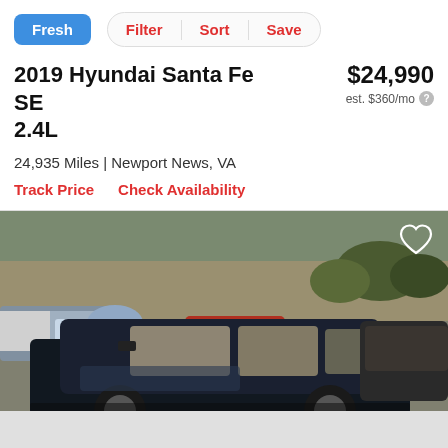Fresh | Filter | Sort | Save
2019 Hyundai Santa Fe SE 2.4L
$24,990
est. $360/mo
24,935 Miles | Newport News, VA
Track Price   Check Availability
[Figure (photo): Photo of a black 2019 Hyundai Santa Fe SE parked in a car dealership lot, with other vehicles visible in the background including a blue Volkswagen Beetle and a red car. A heart/favorite icon is shown in the top-right corner of the image.]